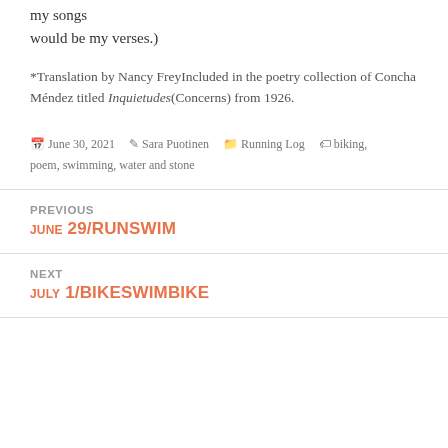my songs
would be my verses.)
*Translation by Nancy FreyIncluded in the poetry collection of Concha Méndez titled Inquietudes(Concerns) from 1926.
June 30, 2021  Sara Puotinen  Running Log  biking, poem, swimming, water and stone
PREVIOUS
june 29/RUNSWIM
NEXT
july 1/BIKESWIMBIKE